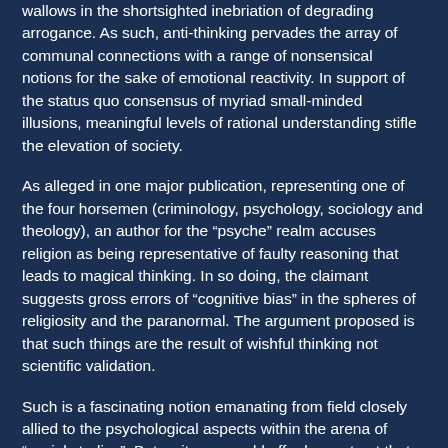wallows in the shortsighted inebriation of degrading arrogance. As such, anti-thinking pervades the array of communal connections with a range of nonsensical notions for the sake of emotional reactivity. In support of the status quo consensus of myriad small-minded illusions, meaningful levels of rational understanding stifle the elevation of society.
As alleged in one major publication, representing one of the four horsemen (criminology, psychology, sociology and theology), an author for the “psyche” realm accuses religion as being representative of faulty reasoning that leads to magical thinking. In so doing, the claimant suggests gross errors of “cognitive bias” in the spheres of religiosity and the paranormal. The argument proposed is that such things are the result of wishful thinking not scientific validation.
Such is a fascinating notion emanating from field closely allied to the psychological aspects within the arena of “social studies”. But wait, one could offer by contrast that the “four horsemen” are very closely related in that real science is not a strong element in their entrenched